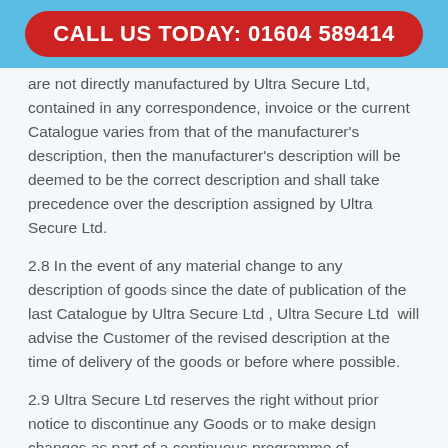CALL US TODAY: 01604 589414
are not directly manufactured by Ultra Secure Ltd, contained in any correspondence, invoice or the current Catalogue varies from that of the manufacturer's description, then the manufacturer's description will be deemed to be the correct description and shall take precedence over the description assigned by Ultra Secure Ltd.
2.8 In the event of any material change to any description of goods since the date of publication of the last Catalogue by Ultra Secure Ltd , Ultra Secure Ltd  will advise the Customer of the revised description at the time of delivery of the goods or before where possible.
2.9 Ultra Secure Ltd reserves the right without prior notice to discontinue any Goods or to make design changes as part of a continuous programme of improvement or to assist availability.
Goods listed in any Ultra Secure Ltd